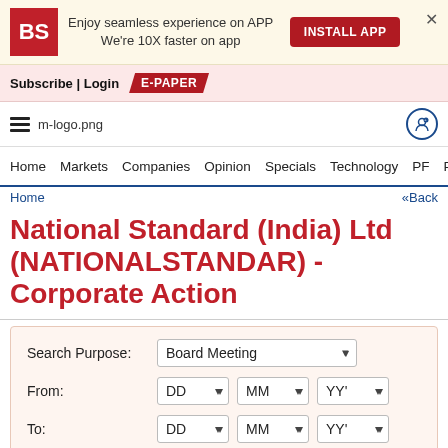[Figure (infographic): Business Standard app promotion banner with BS logo, text 'Enjoy seamless experience on APP We're 10X faster on app', INSTALL APP button, and close X]
Subscribe | Login   E-PAPER
[Figure (logo): Business Standard m-logo.png and navigation icon]
Home  Markets  Companies  Opinion  Specials  Technology  PF  P
Home  «Back
National Standard (India) Ltd (NATIONALSTANDAR) - Corporate Action
[Figure (screenshot): Search form with Search Purpose dropdown (Board Meeting selected), From date fields (DD MM YY), To date fields (DD MM YY), and a submit button partially visible]